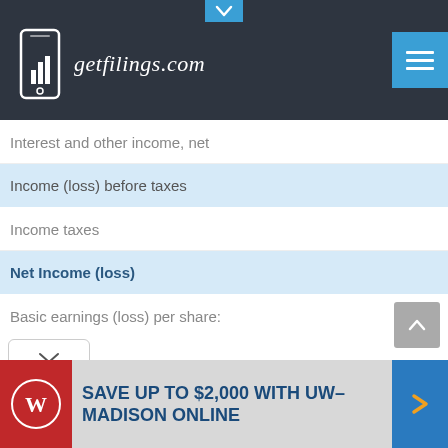getfilings.com
Interest and other income, net
| Income (loss) before taxes |
| Income taxes |
| Net Income (loss) |
| Basic earnings (loss) per share: |
[Figure (screenshot): UW-Madison Online advertisement banner: SAVE UP TO $2,000 WITH UW-MADISON ONLINE]